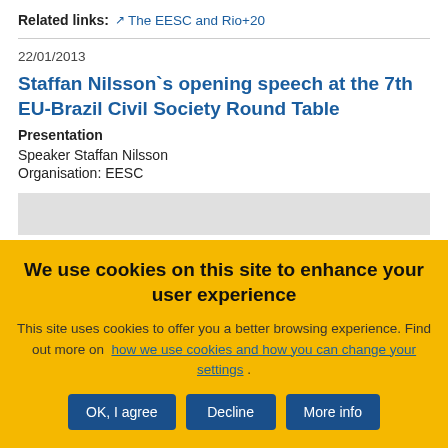Related links:  The EESC and Rio+20
22/01/2013
Staffan Nilsson`s opening speech at the 7th EU-Brazil Civil Society Round Table
Presentation
Speaker Staffan Nilsson
Organisation: EESC
We use cookies on this site to enhance your user experience
This site uses cookies to offer you a better browsing experience. Find out more on how we use cookies and how you can change your settings .